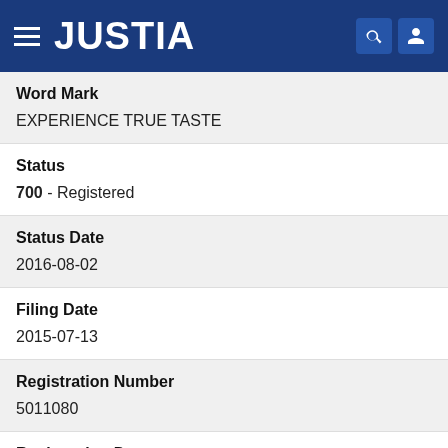JUSTIA
Word Mark
EXPERIENCE TRUE TASTE
Status
700 - Registered
Status Date
2016-08-02
Filing Date
2015-07-13
Registration Number
5011080
Registration Date
2016-08-02